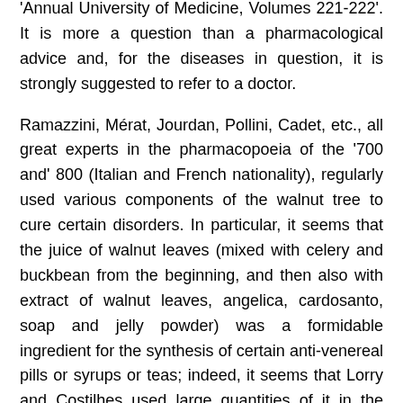'Annual University of Medicine, Volumes 221-222'. It is more a question than a pharmacological advice and, for the diseases in question, it is strongly suggested to refer to a doctor.
Ramazzini, Mérat, Jourdan, Pollini, Cadet, etc., all great experts in the pharmacopoeia of the '700 and' 800 (Italian and French nationality), regularly used various components of the walnut tree to cure certain disorders. In particular, it seems that the juice of walnut leaves (mixed with celery and buckbean from the beginning, and then also with extract of walnut leaves, angelica, cardosanto, soap and jelly powder) was a formidable ingredient for the synthesis of certain anti-venereal pills or syrups or teas; indeed, it seems that Lorry and Costilhes used large quantities of it in the customary therapy